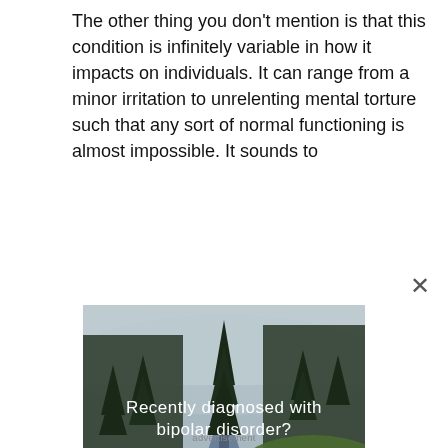The other thing you don't mention is that this condition is infinitely variable in how it impacts on individuals. It can range from a minor irritation to unrelenting mental torture such that any sort of normal functioning is almost impossible. It sounds to
[Figure (photo): Forest scene with river and pine trees, overlaid with text: 'Recently diagnosed with bipolar disorder? DOWNLOAD OUR FREE EBOOK NOW.' with a white underline beneath.]
advertisement